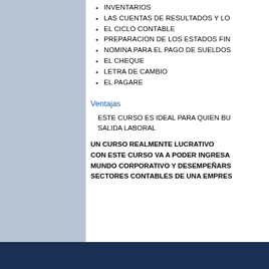INVENTARIOS
LAS CUENTAS DE RESULTADOS Y LO...
EL CICLO CONTABLE
PREPARACION DE LOS ESTADOS FIN...
NOMINA PARA EL PAGO DE SUELDOS...
EL CHEQUE
LETRA DE CAMBIO
EL PAGARE
Ventajas
ESTE CURSO ES IDEAL PARA QUIEN BU... SALIDA LABORAL
UN CURSO REALMENTE LUCRATIVO CON ESTE CURSO VA A PODER INGRESA... MUNDO CORPORATIVO Y DESEMPEÑARS... SECTORES CONTABLES DE UNA EMPRES...